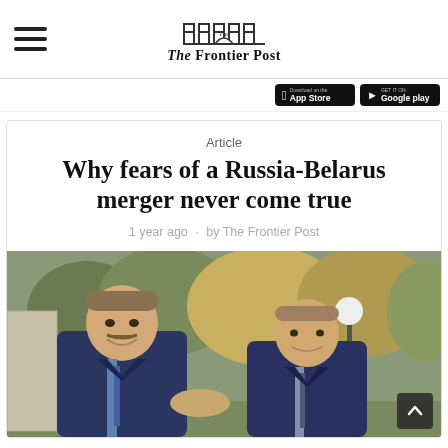The Frontier Post
Article
Why fears of a Russia-Belarus merger never come true
1 year ago · by The Frontier Post
[Figure (photo): Two men in dark suits shaking hands and smiling outdoors, with trees and a street lamp in the background.]